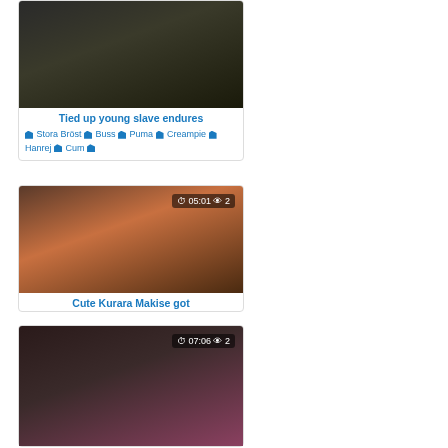[Figure (photo): Video thumbnail - dark background scene]
Tied up young slave endures
Stora Bröst  Buss  Puma  Creampie  Hanrej  Cum
[Figure (photo): Video thumbnail 05:01, 2 views - asian bondage scene]
Cute Kurara Makise got
[Figure (photo): Video thumbnail 07:06, 2 views - women in costumes]